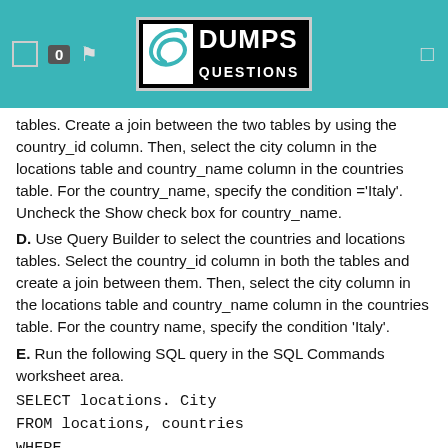0 | DumpsQuestions logo
tables. Create a join between the two tables by using the country_id column. Then, select the city column in the locations table and country_name column in the countries table. For the country_name, specify the condition ='Italy'. Uncheck the Show check box for country_name.
D. Use Query Builder to select the countries and locations tables. Select the country_id column in both the tables and create a join between them. Then, select the city column in the locations table and country_name column in the countries table. For the country name, specify the condition 'Italy'.
E. Run the following SQL query in the SQL Commands worksheet area.
SELECT locations. City
FROM locations, countries
WHERE countries.country_id=locations.country_id AND countries.country_name='Italy'}